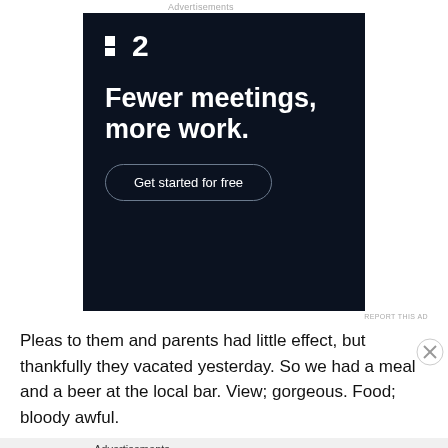Advertisements
[Figure (other): Dark navy advertisement banner for a productivity app. Shows a small logo icon with the number '2', bold white headline 'Fewer meetings, more work.' and a rounded button 'Get started for free'.]
Pleas to them and parents had little effect, but thankfully they vacated yesterday. So we had a meal and a beer at the local bar. View; gorgeous. Food; bloody awful.
Advertisements
[Figure (other): Black advertisement banner for Longreads. Shows Longreads logo (red circle with L) and text 'Read anything great lately?']